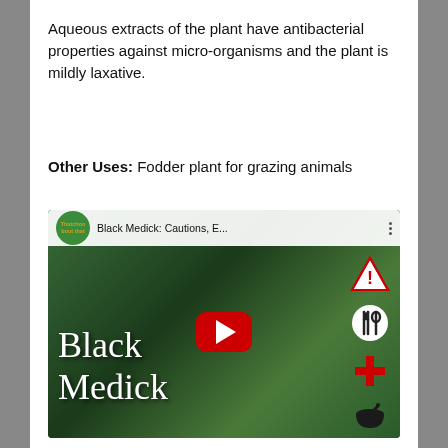Aqueous extracts of the plant have antibacterial properties against micro-organisms and the plant is mildly laxative.
Other Uses: Fodder plant for grazing animals
[Figure (screenshot): YouTube video thumbnail for 'Black Medick: Cautions, E...' showing a photo of a Black Medick plant with the text 'Black Medick' overlaid in white handwritten-style font, a YouTube play button in the center, and icons on the right side including a warning triangle, utensils circle, red cross, and mortar and pestle. A green circular channel logo is shown in the top-left corner of the video player bar.]